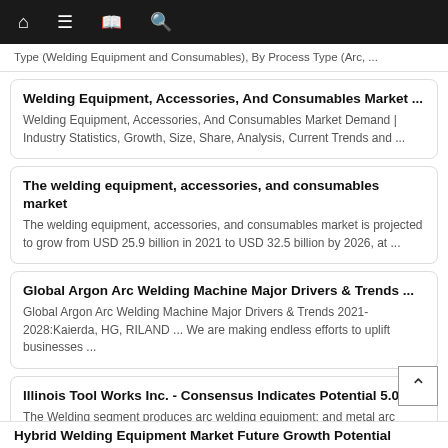navigation bar with home, menu, book, and search icons
Type (Welding Equipment and Consumables), By Process Type (Arc, ...
Welding Equipment, Accessories, And Consumables Market ...
Welding Equipment, Accessories, And Consumables Market Demand | Industry Statistics, Growth, Size, Share, Analysis, Current Trends and ...
The welding equipment, accessories, and consumables market
The welding equipment, accessories, and consumables market is projected to grow from USD 25.9 billion in 2021 to USD 32.5 billion by 2026, at ...
Global Argon Arc Welding Machine Major Drivers & Trends ...
Global Argon Arc Welding Machine Major Drivers & Trends 2021-2028:Kaierda, HG, RILAND ... We are making endless efforts to uplift businesses ...
Illinois Tool Works Inc. - Consensus Indicates Potential 5.0 ...
The Welding segment produces arc welding equipment; and metal arc welding consumables and related accessories. The Polymers & Flu...
Hybrid Welding Equipment Market Future Growth Potential